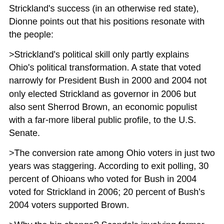Strickland's success (in an otherwise red state), Dionne points out that his positions resonate with the people:
>Strickland's political skill only partly explains Ohio's political transformation. A state that voted narrowly for President Bush in 2000 and 2004 not only elected Strickland as governor in 2006 but also sent Sherrod Brown, an economic populist with a far-more liberal public profile, to the U.S. Senate.
>The conversion rate among Ohio voters in just two years was staggering. According to exit polling, 30 percent of Ohioans who voted for Bush in 2004 voted for Strickland in 2006; 20 percent of Bush's 2004 voters supported Brown.
>Why the big change? Scandals involving former governor Robert Taft and former representative Bob Ney made even loyal Republicans squeamish. Strickland won a fifth of self-identified Republicans and a quarter of conservatives, while holding onto more than 80 percent of liberals and Democrats.